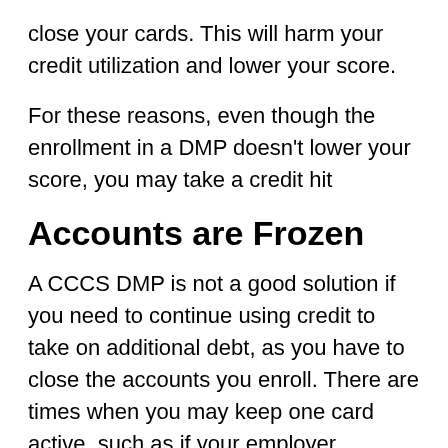close your cards. This will harm your credit utilization and lower your score.
For these reasons, even though the enrollment in a DMP doesn't lower your score, you may take a credit hit
Accounts are Frozen
A CCCS DMP is not a good solution if you need to continue using credit to take on additional debt, as you have to close the accounts you enroll. There are times when you may keep one card active, such as if your employer requires you to use a card for travel.
Negative Effect on Applying for